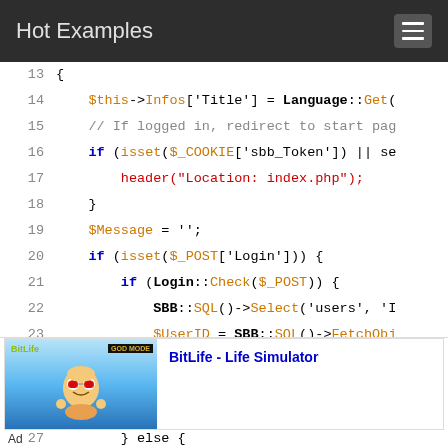Hot Examples
[Figure (screenshot): Syntax-highlighted PHP code snippet, lines 13-27, showing login controller logic with $this->Infos, Language::Get, isset checks, header redirects, SBB::SQL, and User::Login calls. Line 24 is highlighted in green.]
[Figure (infographic): Advertisement for BitLife - Life Simulator app showing a cartoon character with sunglasses and 'GOD MODE' label on a blue sky background.]
Ad